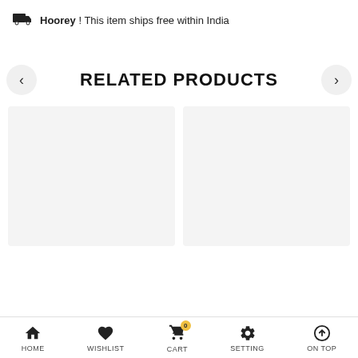Hoorey ! This item ships free within India
RELATED PRODUCTS
[Figure (other): Two product image placeholder cards side by side (light gray background)]
HOME  WISHLIST  CART 0  SETTING  ON TOP